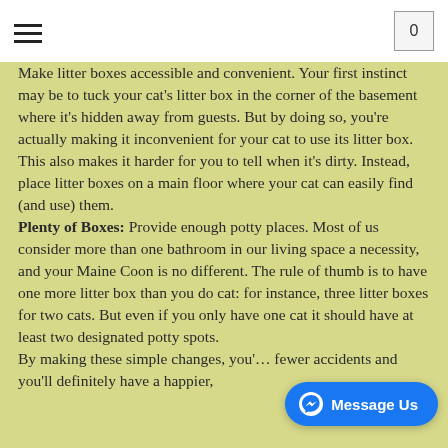≡  0
Make litter boxes accessible and convenient. Your first instinct may be to tuck your cat's litter box in the corner of the basement where it's hidden away from guests. But by doing so, you're actually making it inconvenient for your cat to use its litter box. This also makes it harder for you to tell when it's dirty. Instead, place litter boxes on a main floor where your cat can easily find (and use) them.
Plenty of Boxes: Provide enough potty places. Most of us consider more than one bathroom in our living space a necessity, and your Maine Coon is no different. The rule of thumb is to have one more litter box than you do cat: for instance, three litter boxes for two cats. But even if you only have one cat it should have at least two designated potty spots.
By making these simple changes, you'… fewer accidents and you'll definitely have a happier,